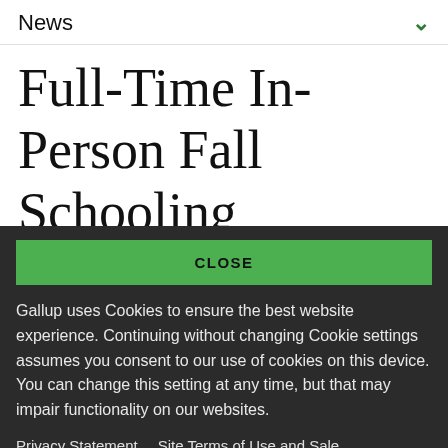News
Full-Time In-Person Fall Schooling
CLOSE
Gallup uses Cookies to ensure the best website experience. Continuing without changing Cookie settings assumes you consent to our use of cookies on this device. You can change this setting at any time, but that may impair functionality on our websites.
Privacy Statement   Site Terms of Use and Sale
Product Terms of Use   Adjust your cookie settings.